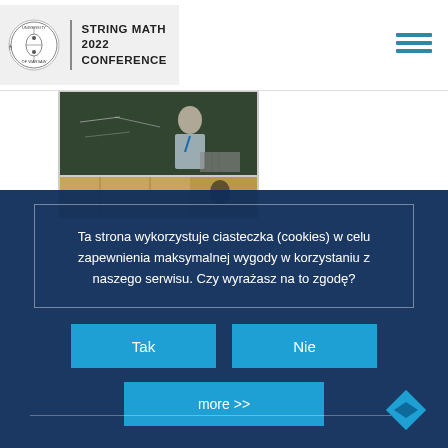STRING MATH 2022 CONFERENCE
[Figure (photo): Person presenting at a blackboard with mathematical writing]
[Figure (photo): Lecture hall or conference room scene]
Ta strona wykorzystuje ciasteczka (cookies) w celu zapewnienia maksymalnej wygody w korzystaniu z naszego serwisu. Czy wyrażasz na to zgodę?
Tak
Nie
more >>